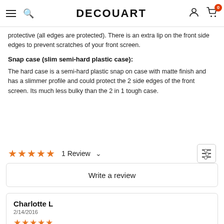DECOUART — navigation header with hamburger menu, search, user icon, cart (0)
protective (all edges are protected). There is an extra lip on the front side edges to prevent scratches of your front screen.
Snap case (slim semi-hard plastic case):
The hard case is a semi-hard plastic snap on case with matte finish and has a slimmer profile and could protect the 2 side edges of the front screen. Its much less bulky than the 2 in 1 tough case.
★★★★★  1 Review ∨
Write a review
Charlotte L
2/14/2016
★★★★★